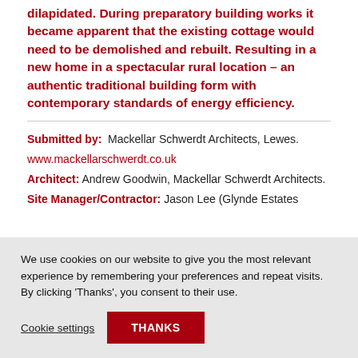dilapidated. During preparatory building works it became apparent that the existing cottage would need to be demolished and rebuilt. Resulting in a new home in a spectacular rural location – an authentic traditional building form with contemporary standards of energy efficiency.
Submitted by: Mackellar Schwerdt Architects, Lewes. www.mackellarschwerdt.co.uk
Architect: Andrew Goodwin, Mackellar Schwerdt Architects.
Site Manager/Contractor: Jason Lee (Glynde Estates
We use cookies on our website to give you the most relevant experience by remembering your preferences and repeat visits. By clicking 'Thanks', you consent to their use.